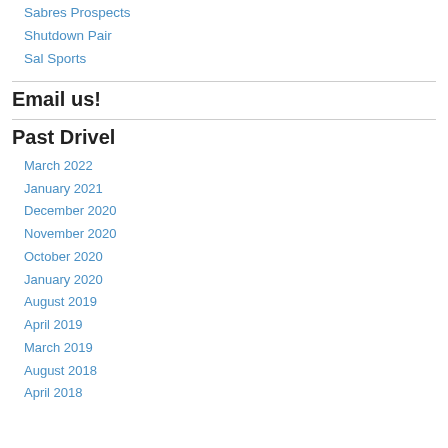Sabres Prospects
Shutdown Pair
Sal Sports
Email us!
Past Drivel
March 2022
January 2021
December 2020
November 2020
October 2020
January 2020
August 2019
April 2019
March 2019
August 2018
April 2018